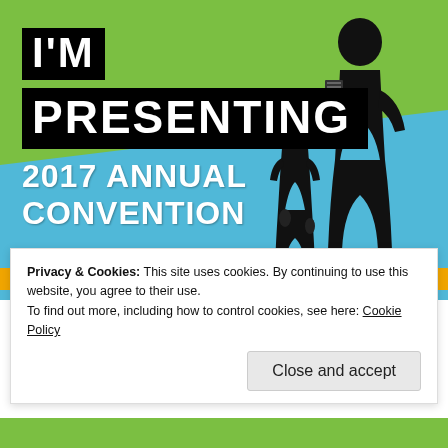[Figure (illustration): Promotional banner for '2017 Annual Convention' reading 'I'M PRESENTING' with silhouettes of presenters on a green and blue diagonal background with an orange strip.]
Privacy & Cookies: This site uses cookies. By continuing to use this website, you agree to their use.
To find out more, including how to control cookies, see here: Cookie Policy
Close and accept